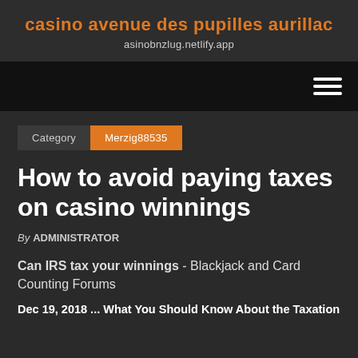casino avenue des pupilles aurillac
asinobnzlug.netlify.app
[Figure (other): Navigation bar with hamburger menu icon (three horizontal white lines) on black background]
Category   Merzig88535
How to avoid paying taxes on casino winnings
By ADMINISTRATOR
Can IRS tax your winnings - Blackjack and Card Counting Forums
Dec 19, 2018 ... What You Should Know About the Taxation